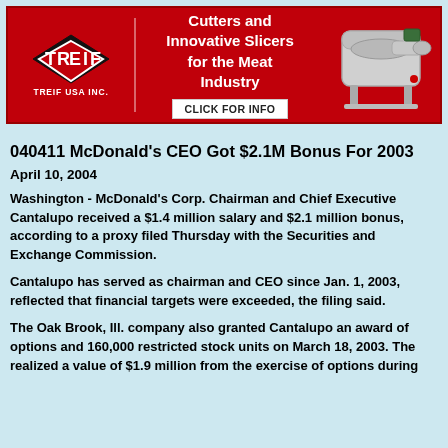[Figure (illustration): TREIF USA INC. banner advertisement with red background. Left side shows TREIF diamond logo with text 'TREIF USA INC.' Center shows bold white text 'Cutters and Innovative Slicers for the Meat Industry' with a white 'CLICK FOR INFO' button below. Right side shows a photo of an industrial meat cutting/slicing machine.]
040411 McDonald's CEO Got $2.1M Bonus For 2003
April 10, 2004
Washington - McDonald's Corp. Chairman and Chief Executive Cantalupo received a $1.4 million salary and $2.1 million bonus, according to a proxy filed Thursday with the Securities and Exchange Commission.
Cantalupo has served as chairman and CEO since Jan. 1, 2003 reflected that financial targets were exceeded, the filing said.
The Oak Brook, Ill. company also granted Cantalupo an award of options and 160,000 restricted stock units on March 18, 2003. T realized a value of $1.9 million from the exercise of options du
In yet to 2003 ...